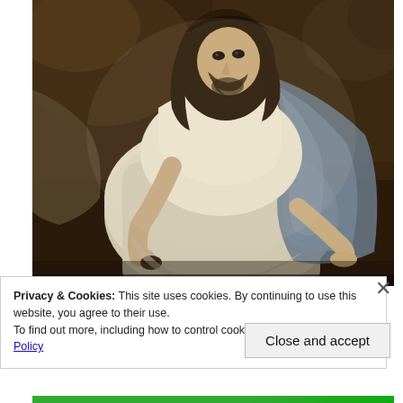[Figure (photo): A photo-realistic painting of a man resembling Jesus Christ, with long dark hair, beard, wearing white robes with a blue/grey draped garment, seated and looking toward the viewer, reaching down with his hand. Dark cave-like background.]
Privacy & Cookies: This site uses cookies. By continuing to use this website, you agree to their use.
To find out more, including how to control cookies, see here: Cookie Policy
Close and accept